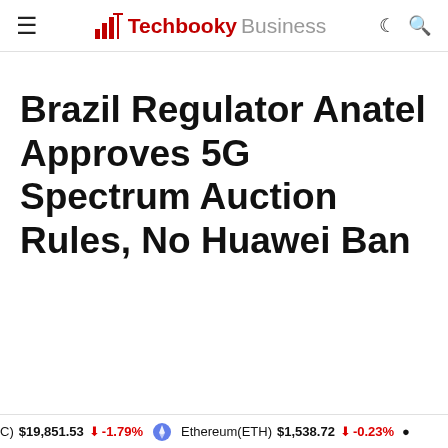Techbooky Business
Brazil Regulator Anatel Approves 5G Spectrum Auction Rules, No Huawei Ban
(C) $19,851.53 ↓ -1.79% Ethereum(ETH) $1,538.72 ↓ -0.23%